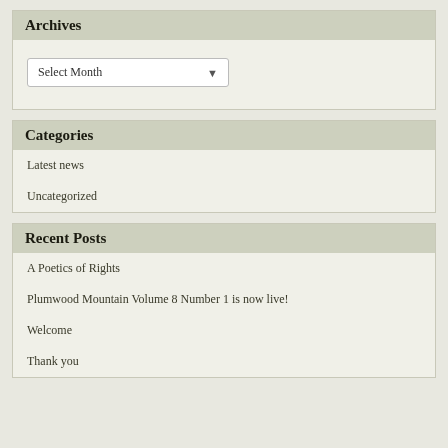Archives
[Figure (screenshot): A dropdown select element showing 'Select Month' with a down arrow]
Categories
Latest news
Uncategorized
Recent Posts
A Poetics of Rights
Plumwood Mountain Volume 8 Number 1 is now live!
Welcome
Thank you